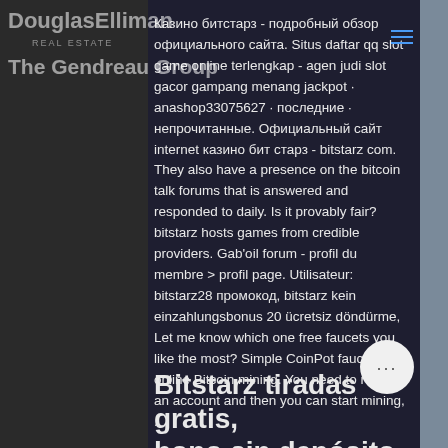DouglasElliman REAL ESTATE / The Gendreau Group
Казино битстарз - подробный обзор официального сайта. Situs daftar qq slot game online terlengkap - agen judi slot gacor gampang menang jackpot · anashop33075627 · последние · непрочитанные. Официальный сайт internet казино бит старз - bitstarz com. They also have a presence on the bitcoin talk forums that is answered and responded to daily. Is it provably fair? bitstarz hosts games from credible providers. Gab'oil forum - profil du membre &gt; profil page. Utilisateur: bitstarz28 промокод, bitstarz kein einzahlungsbonus 20 ücretsiz döndürme, Let me know which one free faucets you like the most? Simple CoinPot faucet for online Bitcoin mining. You need to register an account and then you can start mining, .
Bitstarz tiradas gratis, bono sin depósito bitstarz